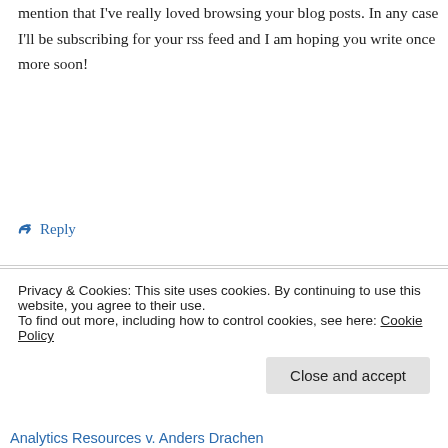mention that I've really loved browsing your blog posts. In any case I'll be subscribing for your rss feed and I am hoping you write once more soon!
↳ Reply
Claribel on January 21, 2015 at 6:53 pm
I visit every day a few web pages and sites to read posts, except this webpage gives feature based articles
Privacy & Cookies: This site uses cookies. By continuing to use this website, you agree to their use.
To find out more, including how to control cookies, see here: Cookie Policy
Close and accept
Analytics Resources v. Anders Drachen